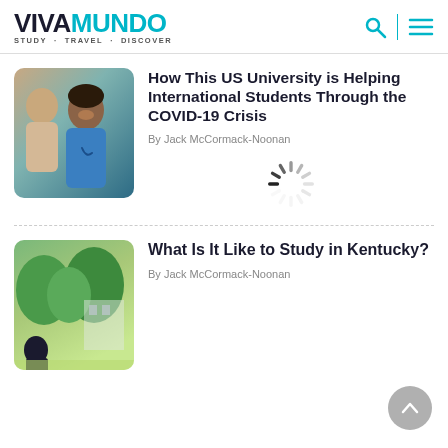VIVAMUNDO STUDY - TRAVEL - DISCOVER
How This US University is Helping International Students Through the COVID-19 Crisis
By Jack McCormack-Noonan
[Figure (photo): Two women, one in blue medical scrubs with a stethoscope smiling at an older woman]
[Figure (other): Loading spinner / activity indicator]
What Is It Like to Study in Kentucky?
By Jack McCormack-Noonan
[Figure (photo): Person near lush green trees on a campus setting]